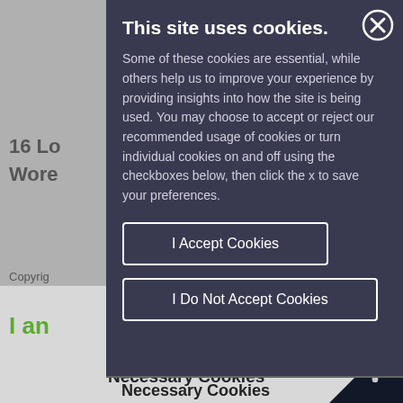This site uses cookies.
Some of these cookies are essential, while others help us to improve your experience by providing insights into how the site is being used. You may choose to accept or reject our recommended usage of cookies or turn individual cookies on and off using the checkboxes below, then click the x to save your preferences.
I Accept Cookies
I Do Not Accept Cookies
Necessary Cookies